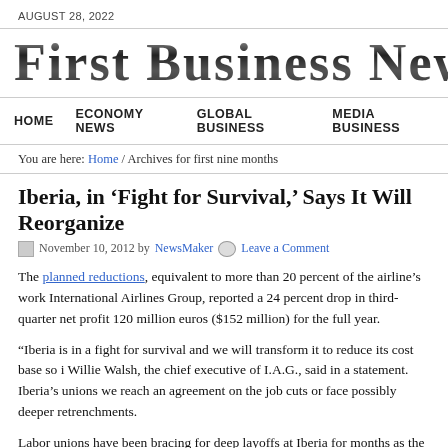AUGUST 28, 2022
First Business News
HOME   ECONOMY NEWS   GLOBAL BUSINESS   MEDIA BUSINESS
You are here: Home / Archives for first nine months
Iberia, in ‘Fight for Survival,’ Says It Will Reorganize
November 10, 2012 by NewsMaker  Leave a Comment
The planned reductions, equivalent to more than 20 percent of the airline’s work International Airlines Group, reported a 24 percent drop in third-quarter net profit 120 million euros ($152 million) for the full year.
“Iberia is in a fight for survival and we will transform it to reduce its cost base so i Willie Walsh, the chief executive of I.A.G., said in a statement. Iberia’s unions we reach an agreement on the job cuts or face possibly deeper retrenchments.
Labor unions have been bracing for deep layoffs at Iberia for months as the grip o